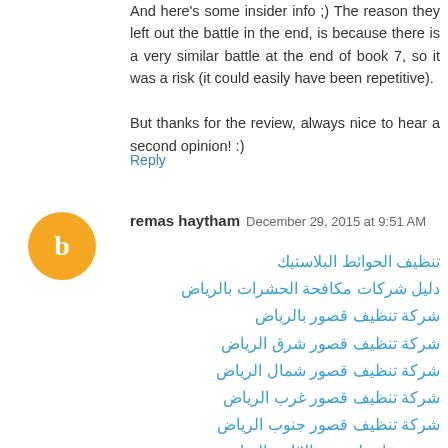And here's some insider info ;) The reason they left out the battle in the end, is because there is a very similar battle at the end of book 7, so it was a risk (it could easily have been repetitive).
But thanks for the review, always nice to hear a second opinion! :)
Reply
remas haytham December 29, 2015 at 9:51 AM
تنظيف الحوائط البلاستيك
دليل شركات مكافحة الحشرات بالرياض
شركة تنظيف قصور بالرياض
شركة تنظيف قصور شرق الرياض
شركة تنظيف قصور شمال الرياض
شركة تنظيف قصور غرب الرياض
شركة تنظيف قصور جنوب الرياض
مستودعات لتخزين الاثاث بالرياض
شركة ديكورات
تشطيبيات فلل
تشطيبيات شقق